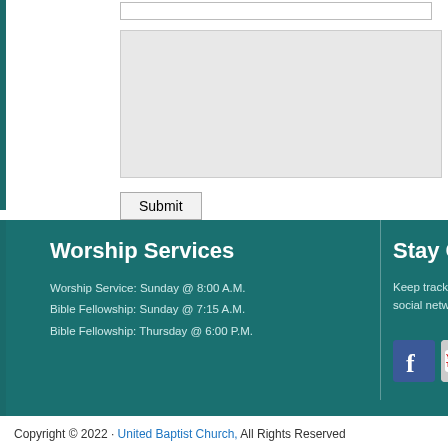[Figure (screenshot): Text input field (empty, white background with border)]
[Figure (screenshot): Textarea input field (empty, light gray background with border)]
Submit
Worship Services
Worship Service: Sunday @ 8:00 A.M.
Bible Fellowship: Sunday @ 7:15 A.M.
Bible Fellowship: Thursday @ 6:00 P.M.
Stay Co[nnected]
Keep track of U[nited Baptist Church on] social networks[.]
[Figure (logo): Facebook logo icon (blue square with white f)]
[Figure (logo): YouTube logo icon (gray square with red YouTube text and play button)]
Copyright © 2022 · United Baptist Church, All Rights Reserved